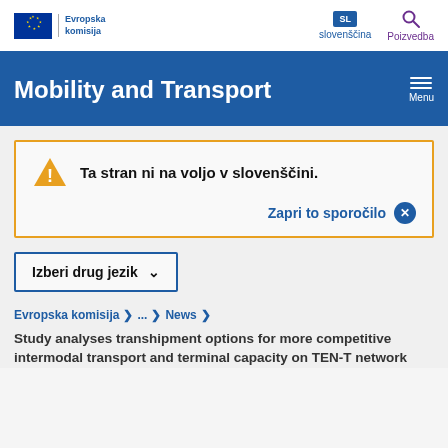[Figure (logo): European Commission logo with EU flag stars and text 'Evropska komisija']
slovenščina
Poizvedba
Mobility and Transport
Menu
Ta stran ni na voljo v slovenščini.
Zapri to sporočilo ×
Izberi drug jezik ∨
Evropska komisija > ... > News >
Study analyses transhipment options for more competitive intermodal transport and terminal capacity on TEN-T network